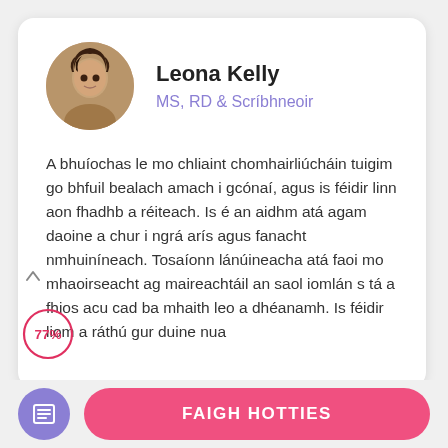[Figure (photo): Circular profile photo of Leona Kelly, a woman with curly dark hair]
Leona Kelly
MS, RD & Scríbhneoir
A bhuíochas le mo chliaint chomhairliúcháin tuigim go bhfuil bealach amach i gcónaí, agus is féidir linn aon fhadhb a réiteach. Is é an aidhm atá agam daoine a chur i ngrá arís agus fanacht nmhuiníneach. Tosaíonn lánúineacha atá faoi mo mhaoirseacht ag maireachtáil an saol iomlán s tá a fhios acu cad ba mhaith leo a dhéanamh. Is féidir liom a ráthú gur duine nua
FAIGH HOTTIES